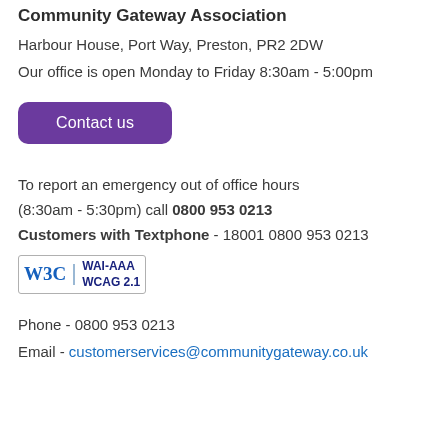Community Gateway Association
Harbour House, Port Way, Preston, PR2 2DW
Our office is open Monday to Friday 8:30am - 5:00pm
[Figure (other): Purple 'Contact us' button]
To report an emergency out of office hours
(8:30am - 5:30pm) call 0800 953 0213
Customers with Textphone - 18001 0800 953 0213
[Figure (logo): W3C WAI-AAA WCAG 2.1 accessibility badge]
Phone - 0800 953 0213
Email - customerservices@communitygateway.co.uk